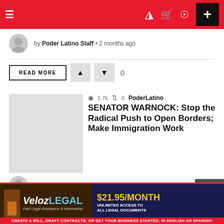Poder Latino — navigation header bar
by Poder Latino Staff • 2 months ago
READ MORE | vote up | vote down | 0
[Figure (screenshot): Gray thumbnail placeholder for article image]
1.7k  0  PoderLatino
SENATOR WARNOCK: Stop the Radical Push to Open Borders; Make Immigration Work
by Poder Latino Staff • 2 months ago
READ MORE | vote up | vote down | 0
[Figure (logo): VelozLEGAL advertisement banner — $21.95/MONTH UNLIMITED ACCESS TO ALL LEGAL DOCUMENTS — CREATE A WILL, DRAFT CONTRACTS, OR GET YOUR BUSINESS STARTED, IN ENGLISH OR SPANISH!]